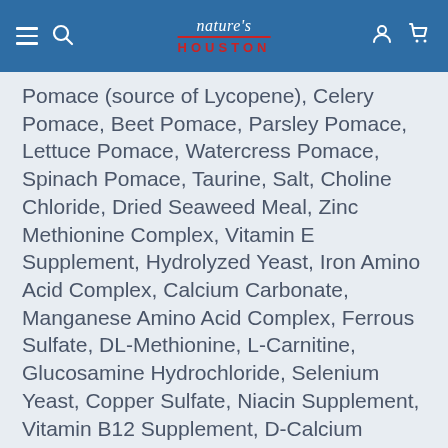nature's houston
Pomace (source of Lycopene), Celery Pomace, Beet Pomace, Parsley Pomace, Lettuce Pomace, Watercress Pomace, Spinach Pomace, Taurine, Salt, Choline Chloride, Dried Seaweed Meal, Zinc Methionine Complex, Vitamin E Supplement, Hydrolyzed Yeast, Iron Amino Acid Complex, Calcium Carbonate, Manganese Amino Acid Complex, Ferrous Sulfate, DL-Methionine, L-Carnitine, Glucosamine Hydrochloride, Selenium Yeast, Copper Sulfate, Niacin Supplement, Vitamin B12 Supplement, D-Calcium Pantothenate, Vitamin A Supplement, Thiamine Mononitrate, Biotin, Riboflavin Supplement, Calcium Iodate, Chondroitin Sulfate,